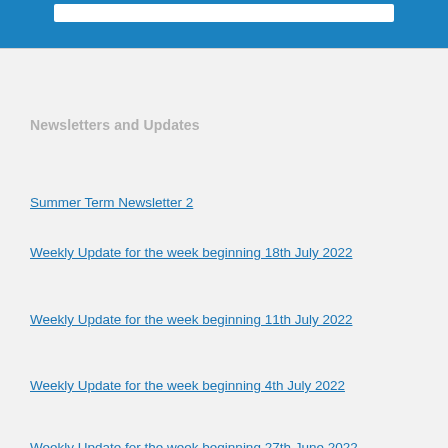Newsletters and Updates
Summer Term Newsletter 2
Weekly Update for the week beginning 18th July 2022
Weekly Update for the week beginning 11th July 2022
Weekly Update for the week beginning 4th July 2022
Weekly Update for the week beginning 27th June 2022